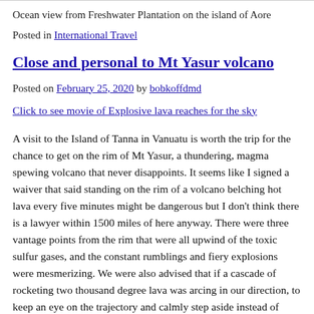Ocean view from Freshwater Plantation on the island of Aore
Posted in International Travel
Close and personal to Mt Yasur volcano
Posted on February 25, 2020 by bobkoffdmd
Click to see movie of Explosive lava reaches for the sky
A visit to the Island of Tanna in Vanuatu is worth the trip for the chance to get on the rim of Mt Yasur, a thundering, magma spewing volcano that never disappoints. It seems like I signed a waiver that said standing on the rim of a volcano belching hot lava every five minutes might be dangerous but I don’t think there is a lawyer within 1500 miles of here anyway. There were three vantage points from the rim that were all upwind of the toxic sulfur gases, and the constant rumblings and fiery explosions were mesmerizing. We were also advised that if a cascade of rocketing two thousand degree lava was arcing in our direction, to keep an eye on the trajectory and calmly step aside instead of running like a screaming banshee. We stayed as is got dark enough to contrast the